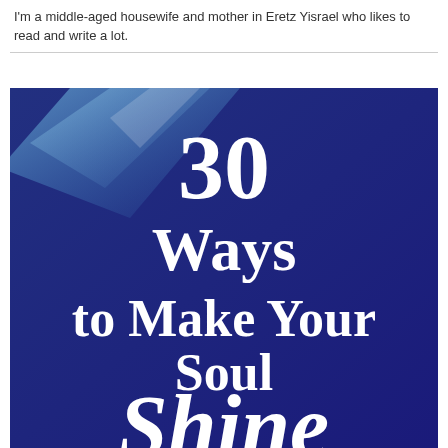I'm a middle-aged housewife and mother in Eretz Yisrael who likes to read and write a lot.
[Figure (illustration): Book cover with dark blue background and light blue diagonal streaks in the upper left. White bold serif text reads '30 Ways to Make Your Soul' and large white italic/script text reads 'Shine' at the bottom.]